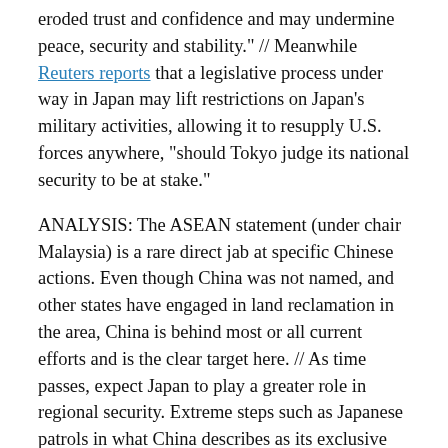eroded trust and confidence and may undermine peace, security and stability." // Meanwhile Reuters reports that a legislative process under way in Japan may lift restrictions on Japan’s military activities, allowing it to resupply U.S. forces anywhere, “should Tokyo judge its national security to be at stake.”
ANALYSIS: The ASEAN statement (under chair Malaysia) is a rare direct jab at specific Chinese actions. Even though China was not named, and other states have engaged in land reclamation in the area, China is behind most or all current efforts and is the clear target here. // As time passes, expect Japan to play a greater role in regional security. Extreme steps such as Japanese patrols in what China describes as its exclusive economic zone (EEZ), however, would be white-hot and would expose the United States to considerable risk. U.S. forces nonetheless clearly intend to remain present in the SCS and are seeking renewed access to Philippine bases.